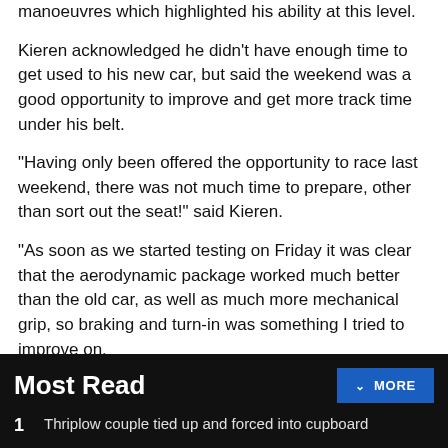manoeuvres which highlighted his ability at this level.
Kieren acknowledged he didn't have enough time to get used to his new car, but said the weekend was a good opportunity to improve and get more track time under his belt.
"Having only been offered the opportunity to race last weekend, there was not much time to prepare, other than sort out the seat!" said Kieren.
"As soon as we started testing on Friday it was clear that the aerodynamic package worked much better than the old car, as well as much more mechanical grip, so braking and turn-in was something I tried to improve on.
Most Read
1  Thriplow couple tied up and forced into cupboard